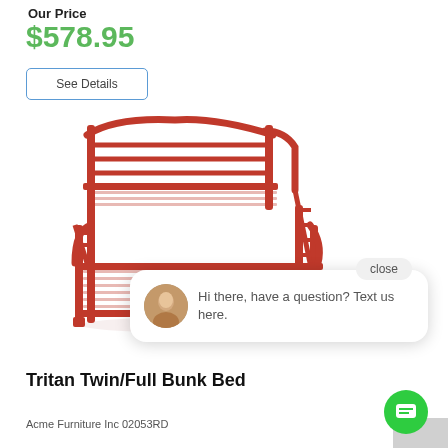Our Price
$578.95
See Details
[Figure (photo): Red metal twin/full bunk bed with ladder, shown at an angle on white background]
close
Hi there, have a question? Text us here.
Tritan Twin/Full Bunk Bed
Acme Furniture Inc 02053RD